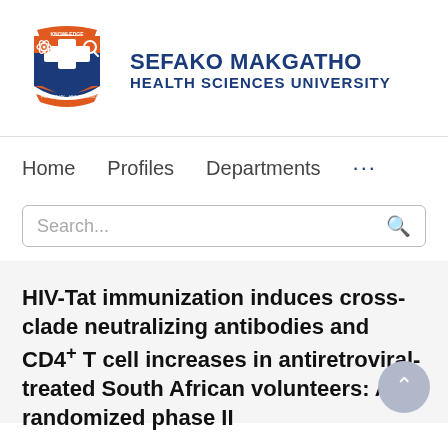[Figure (logo): Sefako Makgatho Health Sciences University shield logo with orange and blue colors, cross symbol, and decorative elements]
SEFAKO MAKGATHO HEALTH SCIENCES UNIVERSITY
Home   Profiles   Departments   ...
Search...
HIV-Tat immunization induces cross-clade neutralizing antibodies and CD4+ T cell increases in antiretroviral-treated South African volunteers: A randomized phase II